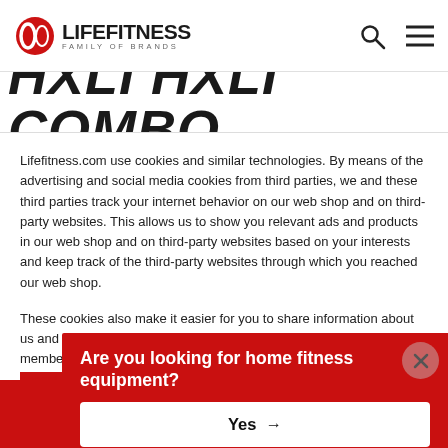LIFE FITNESS FAMILY OF BRANDS
HXLI HXLI COMBO
Lifefitness.com use cookies and similar technologies. By means of the advertising and social media cookies from third parties, we and these third parties track your internet behavior on our web shop and on third-party websites. This allows us to show you relevant ads and products in our web shop and on third-party websites based on your interests and keep track of the third-party websites through which you reached our web shop.
These cookies also make it easier for you to share information about us and our products on social media and - if you are one of our members - to get extra passion po... an...
If ... lo... th...
Co... Re...
[Figure (screenshot): Red modal popup asking 'Are you looking for home fitness equipment?' with Yes and No buttons, and a close button in the top right corner.]